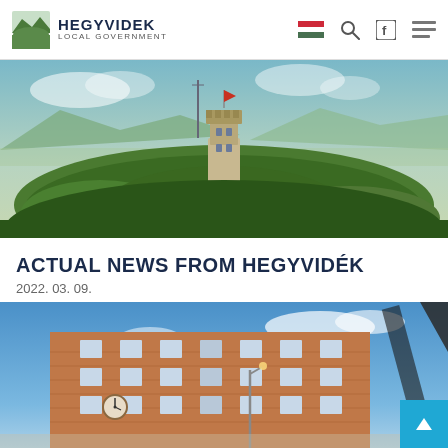HEGYVIDEK LOCAL GOVERNMENT
[Figure (photo): Aerial/elevated view of a hilltop tower or lookout surrounded by dense green forest with mountains and a valley in the background under a partly cloudy sky.]
ACTUAL NEWS FROM HEGYVIDÉK
2022. 03. 09.
[Figure (photo): Exterior view of a multi-story brick building with a clock on its facade, photographed from below against a blue sky with some clouds, with a diagonal dark architectural element in the upper right.]